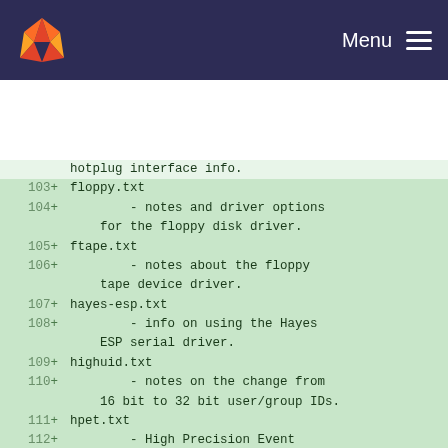Menu
[Figure (screenshot): GitLab fox logo in top-left header]
hotplug interface info.
103 + floppy.txt
104 +         - notes and driver options for the floppy disk driver.
105 + ftape.txt
106 +         - notes about the floppy tape device driver.
107 + hayes-esp.txt
108 +         - info on using the Hayes ESP serial driver.
109 + highuid.txt
110 +         - notes on the change from 16 bit to 32 bit user/group IDs.
111 + hpet.txt
112 +         - High Precision Event Timer Driver for Linux.
113 + hw_random.txt
114 +         - info on Linux support for random number generator in i8xx chipsets.